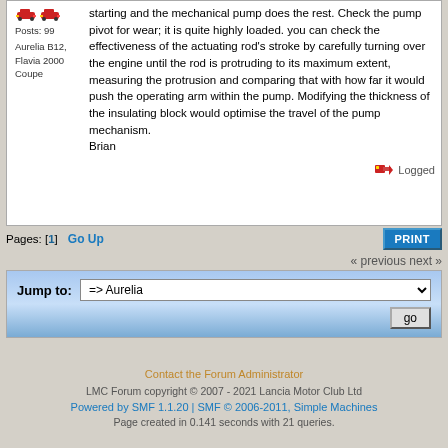Posts: 99
Aurelia B12, Flavia 2000 Coupe
starting and the mechanical pump does the rest. Check the pump pivot for wear; it is quite highly loaded. you can check the effectiveness of the actuating rod's stroke by carefully turning over the engine until the rod is protruding to its maximum extent, measuring the protrusion and comparing that with how far it would push the operating arm within the pump. Modifying the thickness of the insulating block would optimise the travel of the pump mechanism.
Brian
Logged
Pages: [1]   Go Up
« previous next »
Jump to:   => Aurelia   go
Contact the Forum Administrator
LMC Forum copyright © 2007 - 2021 Lancia Motor Club Ltd
Powered by SMF 1.1.20 | SMF © 2006-2011, Simple Machines
Page created in 0.141 seconds with 21 queries.